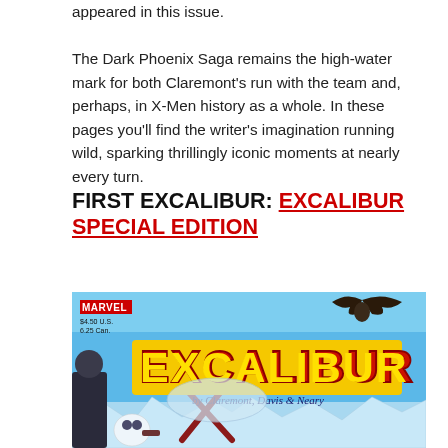appeared in this issue. The Dark Phoenix Saga remains the high-water mark for both Claremont's run with the team and, perhaps, in X-Men history as a whole. In these pages you'll find the writer's imagination running wild, sparking thrillingly iconic moments at nearly every turn.
FIRST EXCALIBUR: EXCALIBUR SPECIAL EDITION
[Figure (illustration): Comic book cover of Excalibur Special Edition by Marvel, featuring the Excalibur logo in large yellow and red lettering on a blue background, with the text 'by Claremont, Davis & Neary' and price '$4.50 U.S. / 6.25 Can.' Characters and a bat are visible in the background.]